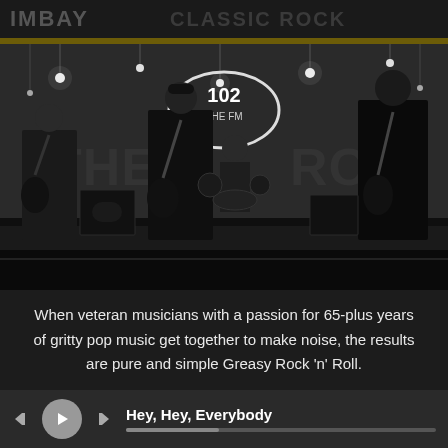[Figure (photo): Black and white photo of a rock band performing on stage at 'The Room' venue, with a 102 FM radio station logo visible. Four musicians playing guitars and drums under hanging lights.]
When veteran musicians with a passion for 65-plus years of gritty pop music get together to make noise, the results are pure and simple Greasy Rock 'n' Roll.
Hey, Hey, Everybody